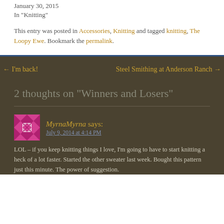January 30, 2015
In "Knitting"
This entry was posted in Accessories, Knitting and tagged knitting, The Loopy Ewe. Bookmark the permalink.
← I'm back!
Steel Smithing at Anderson Ranch →
2 thoughts on "Winners and Losers"
MyrnaMyrna says:
July 9, 2014 at 4:14 PM
LOL – if you keep knitting things I love, I'm going to have to start knitting a heck of a lot faster. Started the other sweater last week. Bought this pattern just this minute. The power of suggestion.